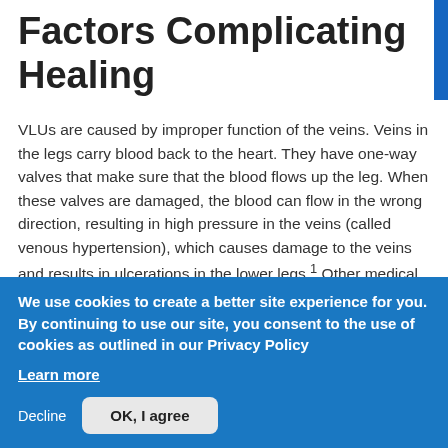Factors Complicating Healing
VLUs are caused by improper function of the veins. Veins in the legs carry blood back to the heart. They have one-way valves that make sure that the blood flows up the leg. When these valves are damaged, the blood can flow in the wrong direction, resulting in high pressure in the veins (called venous hypertension), which causes damage to the veins and results in ulcerations in the lower legs.¹ Other medical conditions that can cause blood to pool in the veins of the legs and lead to VLUs are varicose veins,
We use cookies to create a better site experience for you. By continuing to use our site, you consent to the use of cookies as outlined in our Privacy Policy
Learn more
Decline
OK, I agree